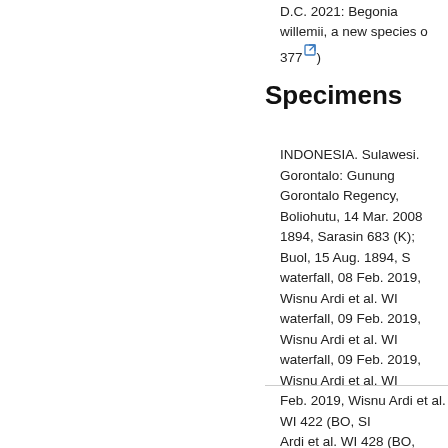D.C. 2021: Begonia willemii, a new species of 377 )
Specimens
INDONESIA. Sulawesi. Gorontalo: Gunung Gorontalo Regency, Boliohutu, 14 Mar. 2008 1894, Sarasin 683 (K); Buol, 15 Aug. 1894, S waterfall, 08 Feb. 2019, Wisnu Ardi et al. WI waterfall, 09 Feb. 2019, Wisnu Ardi et al. WI waterfall, 09 Feb. 2019, Wisnu Ardi et al. WI Feb. 2019, Wisnu Ardi et al. WI 422 (BO, SI Ardi et al. WI 428 (BO, SING, KRB); Toli-to Banggai regency, Batui river, 17 Oct. 1989, M & Thomas, D.C. 2021: Begonia willemii, a n 66(3): 374-377 )